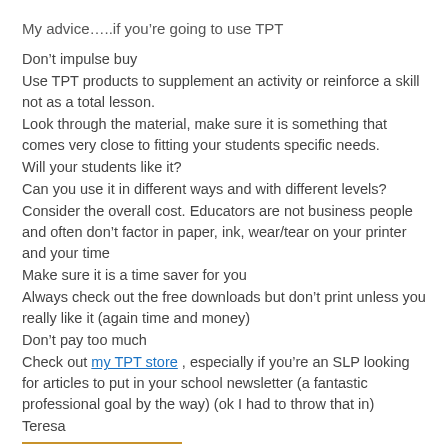My advice…..if you're going to use TPT
Don't impulse buy
Use TPT products to supplement an activity or reinforce a skill not as a total lesson.
Look through the material, make sure it is something that comes very close to fitting your students specific needs.
Will your students like it?
Can you use it in different ways and with different levels?
Consider the overall cost. Educators are not business people and often don't factor in paper, ink, wear/tear on your printer and your time
Make sure it is a time saver for you
Always check out the free downloads but don't print unless you really like it (again time and money)
Don't pay too much
Check out my TPT store , especially if you're an SLP looking for articles to put in your school newsletter (a fantastic professional goal by the way) (ok I had to throw that in)
Teresa
[Figure (logo): Amazon logo with orange bar above and arrow below, followed by partial 'edu school' text in red]